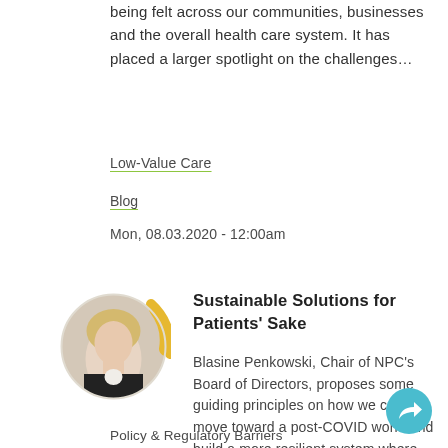being felt across our communities, businesses and the overall health care system. It has placed a larger spotlight on the challenges...
Low-Value Care
Blog
Mon, 08.03.2020 - 12:00am
[Figure (photo): Headshot of Blasine Penkowski in a circular frame with a yellow/gold arc overlay]
Sustainable Solutions for Patients' Sake
Blasine Penkowski, Chair of NPC's Board of Directors, proposes some guiding principles on how we can move toward a post-COVID world and build a more resilient system where patients have the care they...
Policy & Regulatory Barriers
[Figure (illustration): Circular teal share/reply button icon in bottom right corner]